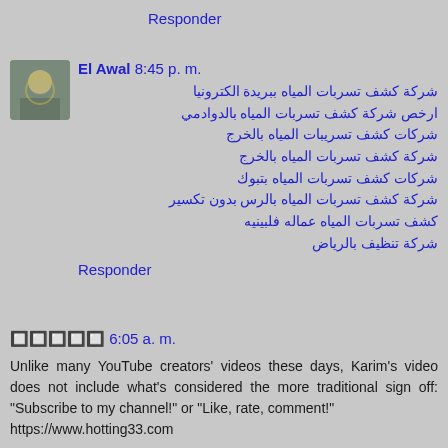Responder
El Awal 8:45 p. m.
شركة كشف تسربات المياه ببريدة الكترونيا
ارخص شركة كشف تسربات المياه بالدوادمي
شركات كشف تسريبات المياه بالخرج
شركة كشف تسربات المياه بالخرج
شركات كشف تسربات المياه بتبوك
شركة كشف تسربات المياه بالرس بدون تكسير
كشف تسربات المياه عماله فلبينيه
شركة تنظيف بالرياض
Responder
🔲🔲🔲🔲🔲 6:05 a. m.
Unlike many YouTube creators' videos these days, Karim's video does not include what's considered the more traditional sign off: "Subscribe to my channel!" or "Like, rate, comment!"
https://www.hotting33.com